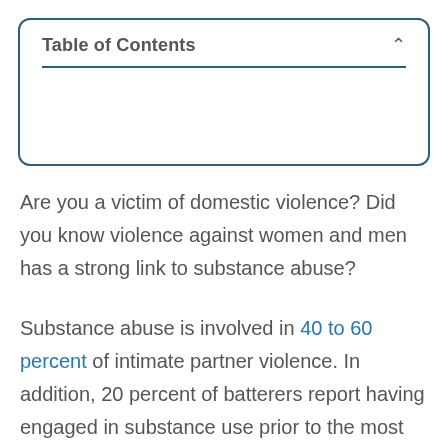Table of Contents
Are you a victim of domestic violence? Did you know violence against women and men has a strong link to substance abuse?
Substance abuse is involved in 40 to 60 percent of intimate partner violence. In addition, 20 percent of batterers report having engaged in substance use prior to the most severe and recent violence.